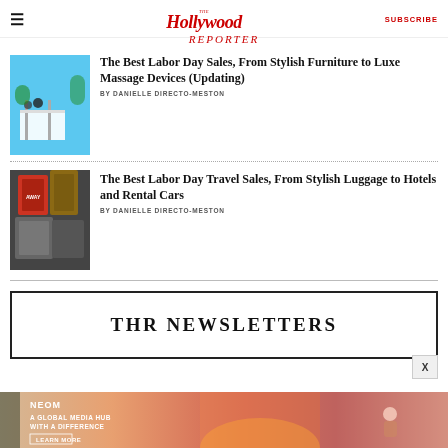The Hollywood Reporter — SUBSCRIBE
The Best Labor Day Sales, From Stylish Furniture to Luxe Massage Devices (Updating)
BY DANIELLE DIRECTO-MESTON
The Best Labor Day Travel Sales, From Stylish Luggage to Hotels and Rental Cars
BY DANIELLE DIRECTO-MESTON
THR NEWSLETTERS
[Figure (photo): NEOM advertisement banner — A Global Media Hub With a Difference]
NEOM — A GLOBAL MEDIA HUB WITH A DIFFERENCE — LEARN MORE